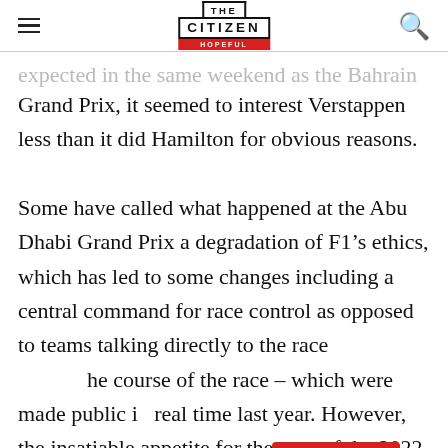THE CITIZEN HOPEFUL
…expected in the same weekend as the Bahrain Grand Prix, it seemed to interest Verstappen less than it did Hamilton for obvious reasons.
Some have called what happened at the Abu Dhabi Grand Prix a degradation of F1's ethics, which has led to some changes including a central command for race control as opposed to teams talking directly to the race director during the course of the race – which were made public in real time last year. However, the insatiable appetite for the start of the 2022 season suggests that no matter how the controversy